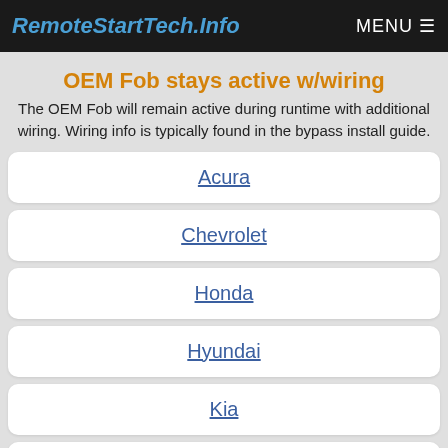RemoteStartTech.Info  MENU
OEM Fob stays active w/wiring
The OEM Fob will remain active during runtime with additional wiring. Wiring info is typically found in the bypass install guide.
Acura
Chevrolet
Honda
Hyundai
Kia
Scion
Toyota